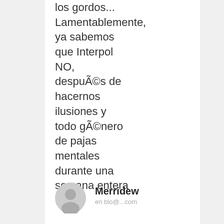los gordos... Lamentablemente, ya sabemos que Interpol NO, después de hacernos ilusiones y todo género de pajas mentales durante una semana entera :(.
Merridew